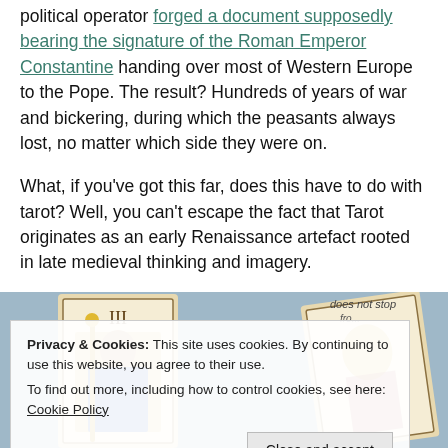political operator forged a document supposedly bearing the signature of the Roman Emperor Constantine handing over most of Western Europe to the Pope. The result? Hundreds of years of war and bickering, during which the peasants always lost, no matter which side they were on.
What, if you've got this far, does this have to do with tarot? Well, you can't escape the fact that Tarot originates as an early Renaissance artefact rooted in late medieval thinking and imagery.
[Figure (photo): Tarot card image partially visible with text 'does not stop' overlay, obscured by cookie consent banner]
Privacy & Cookies: This site uses cookies. By continuing to use this website, you agree to their use.
To find out more, including how to control cookies, see here: Cookie Policy